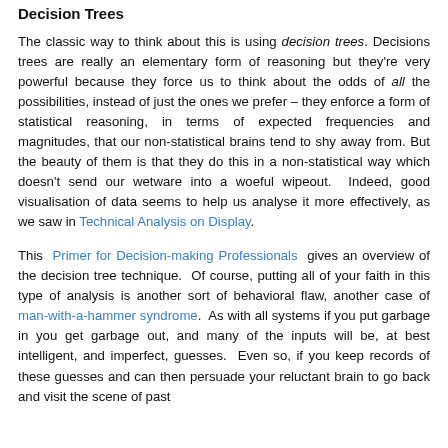Decision Trees
The classic way to think about this is using decision trees. Decisions trees are really an elementary form of reasoning but they're very powerful because they force us to think about the odds of all the possibilities, instead of just the ones we prefer – they enforce a form of statistical reasoning, in terms of expected frequencies and magnitudes, that our non-statistical brains tend to shy away from. But the beauty of them is that they do this in a non-statistical way which doesn't send our wetware into a woeful wipeout. Indeed, good visualisation of data seems to help us analyse it more effectively, as we saw in Technical Analysis on Display.
This Primer for Decision-making Professionals gives an overview of the decision tree technique. Of course, putting all of your faith in this type of analysis is another sort of behavioral flaw, another case of man-with-a-hammer syndrome. As with all systems if you put garbage in you get garbage out, and many of the inputs will be, at best intelligent, and imperfect, guesses. Even so, if you keep records of these guesses and can then persuade your reluctant brain to go back and visit the scene of past